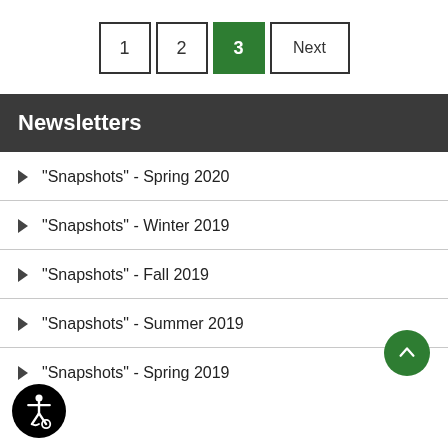Pagination: 1, 2, 3 (active), Next
Newsletters
"Snapshots" - Spring 2020
"Snapshots" - Winter 2019
"Snapshots" - Fall 2019
"Snapshots" - Summer 2019
"Snapshots" - Spring 2019